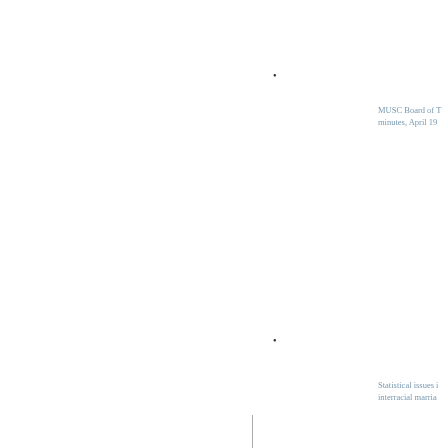MUSC Board of Trustees minutes, April 19...
Statistical issues in interracial marria...
Medical Society of Carolina Meeting 1979